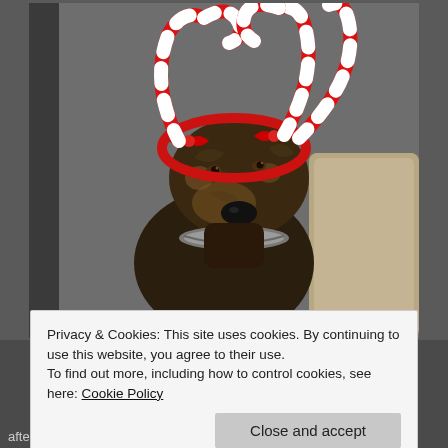[Figure (photo): A brindle dog wearing a red and white candy cane antler headband with red bows, standing indoors, looking at the camera. A beige pillow is visible in the background to the right.]
Privacy & Cookies: This site uses cookies. By continuing to use this website, you agree to their use.
To find out more, including how to control cookies, see here: Cookie Policy
Close and accept
after the house squirrel every day, can be seen jumping and